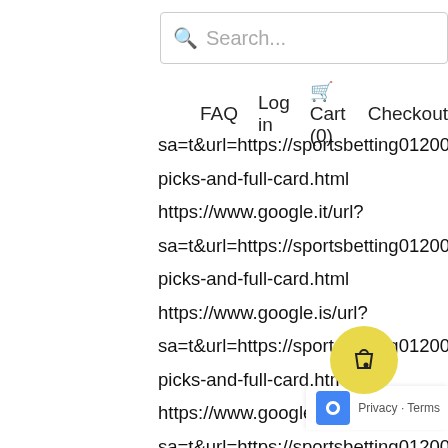[Figure (screenshot): Search bar with magnifying glass icon and placeholder text 'Search...']
FAQ   Log in   Cart (0)   Checkout
sa=t&url=https://sportsbetting01200.blogspot.com/2
picks-and-full-card.html
https://www.google.it/url?
sa=t&url=https://sportsbetting01200.blogspot.com/2
picks-and-full-card.html
https://www.google.is/url?
sa=t&url=https://sportsbetting01200.blogspot.com/2
picks-and-full-card.html
https://www.google.iq/url?
sa=t&url=https://sportsbetting01200.blogspot.com/2
picks-and-full-card.html
https://www.google.ie/url?
sa=t&url=https://sportsbetting01200.blogspot.com/2